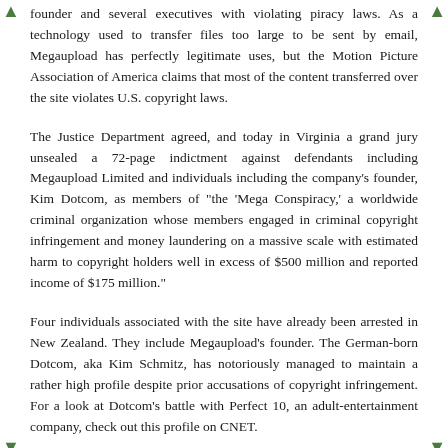founder and several executives with violating piracy laws. As a technology used to transfer files too large to be sent by email, Megaupload has perfectly legitimate uses, but the Motion Picture Association of America claims that most of the content transferred over the site violates U.S. copyright laws.
The Justice Department agreed, and today in Virginia a grand jury unsealed a 72-page indictment against defendants including Megaupload Limited and individuals including the company's founder, Kim Dotcom, as members of "the 'Mega Conspiracy,' a worldwide criminal organization whose members engaged in criminal copyright infringement and money laundering on a massive scale with estimated harm to copyright holders well in excess of $500 million and reported income of $175 million."
Four individuals associated with the site have already been arrested in New Zealand. They include Megaupload's founder. The German-born Dotcom, aka Kim Schmitz, has notoriously managed to maintain a rather high profile despite prior accusations of copyright infringement. For a look at Dotcom's battle with Perfect 10, an adult-entertainment company, check out this profile on CNET.